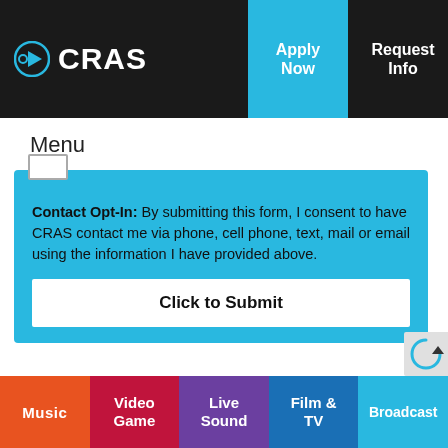CRAS | Apply Now | Request Info | Call Now
Menu
Contact Opt-In: By submitting this form, I consent to have CRAS contact me via phone, cell phone, text, mail or email using the information I have provided above.
Click to Submit
Music | Video Game | Live Sound | Film & TV | Broadcast